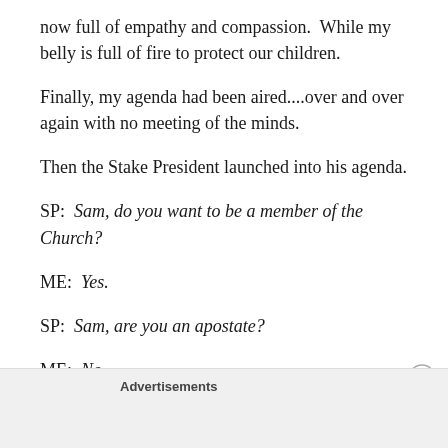now full of empathy and compassion.  While my belly is full of fire to protect our children.
Finally, my agenda had been aired....over and over again with no meeting of the minds.
Then the Stake President launched into his agenda.
SP:  Sam, do you want to be a member of the Church?
ME:  Yes.
SP:  Sam, are you an apostate?
ME:  No.
Advertisements